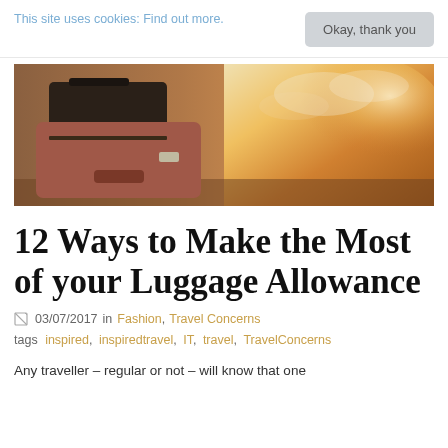This site uses cookies: Find out more.
Okay, thank you
[Figure (photo): Stack of vintage luggage/suitcases in warm sunset light near a window, dark brown suitcase on top and pink/mauve suitcase below]
12 Ways to Make the Most of your Luggage Allowance
03/07/2017  in  Fashion, Travel Concerns
tags  inspired, inspiredtravel, IT, travel, TravelConcerns
Any traveller – regular or not – will know that one